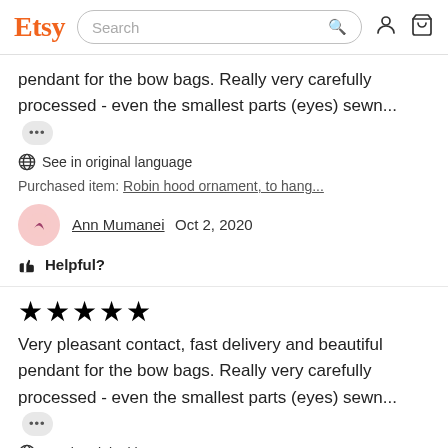Etsy Search
pendant for the bow bags. Really very carefully processed - even the smallest parts (eyes) sewn...
See in original language
Purchased item: Robin hood ornament, to hang...
Ann Mumanei  Oct 2, 2020
Helpful?
★★★★★
Very pleasant contact, fast delivery and beautiful pendant for the bow bags. Really very carefully processed - even the smallest parts (eyes) sewn...
See in original language
Purchased item: Archery gift, Robin hood, for wo...